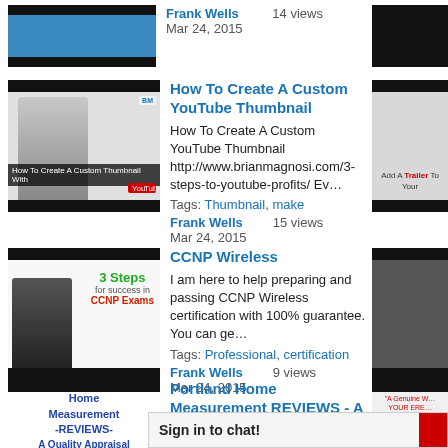Frank Wells   14 views
Mar 24, 2015
How To Create A Custom YouTube Thumbnail
How To Create A Custom YouTube Thumbnail http://www.brianmagnosi.com/3-steps-to-youtube-profits/ Ev…
Tags: Thumbnail, make
Frank Wells   15 views
Mar 24, 2015
CCNP Wireless
I am here to help preparing and passing CCNP Wireless certification with 100% guarantee. You can ge…
Tags: Professional, certification
Frank Wells   9 views
Mar 24, 2015
Portland Home Measurement REVIEWS - A Quality Appraisal - 503.781.5646
Portland Home Mea… sketching service w…
Sign in to chat!